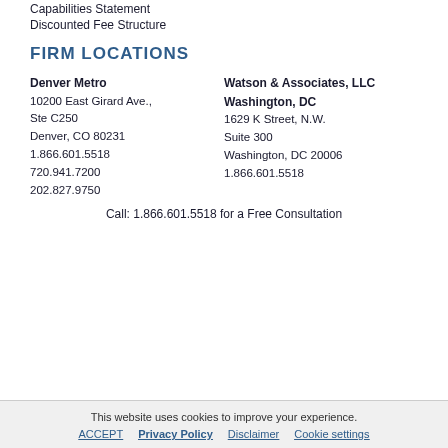Capabilities Statement
Discounted Fee Structure
FIRM LOCATIONS
Denver Metro
10200 East Girard Ave.,
Ste C250
Denver, CO 80231
1.866.601.5518
720.941.7200
202.827.9750
Watson & Associates, LLC
Washington, DC
1629 K Street, N.W.
Suite 300
Washington, DC 20006
1.866.601.5518
Call: 1.866.601.5518 for a Free Consultation
This website uses cookies to improve your experience. ACCEPT  Privacy Policy  Disclaimer  Cookie settings